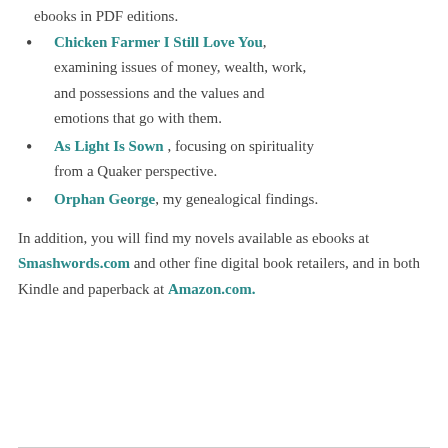ebooks in PDF editions.
Chicken Farmer I Still Love You, examining issues of money, wealth, work, and possessions and the values and emotions that go with them.
As Light Is Sown, focusing on spirituality from a Quaker perspective.
Orphan George, my genealogical findings.
In addition, you will find my novels available as ebooks at Smashwords.com and other fine digital book retailers, and in both Kindle and paperback at Amazon.com.